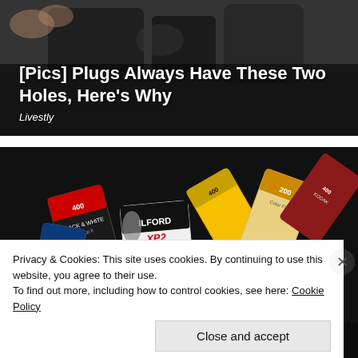[Figure (photo): Dark photograph of a mechanical plug/electrical connector against a dark background, with text overlay showing article title and source.]
[Pics] Plugs Always Have These Two Holes, Here's Why
Livestly
[Figure (photo): Photograph of a large pile of colorful 35mm film canisters/rolls from various brands including Ilford XP2 Super, 400 film (Black & White), Kodak 200, CVS, and various others.]
Privacy & Cookies: This site uses cookies. By continuing to use this website, you agree to their use.
To find out more, including how to control cookies, see here: Cookie Policy
Close and accept